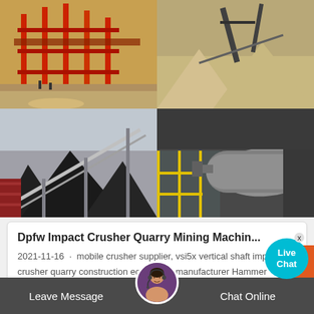[Figure (photo): Four-panel photo grid showing mining and quarry equipment: top-left shows a large red crusher/conveyor structure at a quarry, top-right shows excavation machinery with sand piles, bottom-left shows a conveyor belt over large coal/rock piles, bottom-right shows industrial cylindrical drum/rotary equipment with yellow scaffolding.]
Dpfw Impact Crusher Quarry Mining Machin...
2021-11-16 · mobile crusher supplier, vsi5x vertical shaft impact crusher quarry construction equipment manufacturer Hammer crusher for... mining and construction in ...